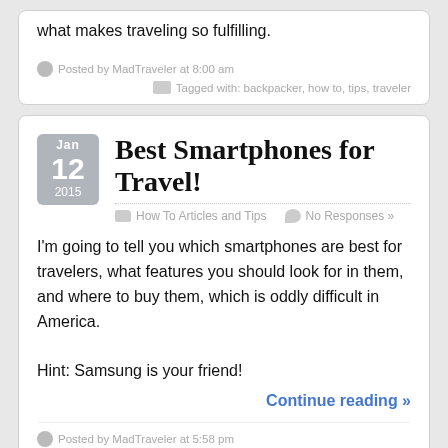what makes traveling so fulfilling.
Posted by MadTraveler at 8:00 am
Tagged with: backpacker, how to, tips, traveler
Best Smartphones for Travel!
How To Articles and Tips   No Responses »
I'm going to tell you which smartphones are best for travelers, what features you should look for in them, and where to buy them, which is oddly difficult in America.

Hint: Samsung is your friend!
Continue reading »
Posted by MadTraveler at 5:58 pm
Tagged with: guide, how to, smartphones